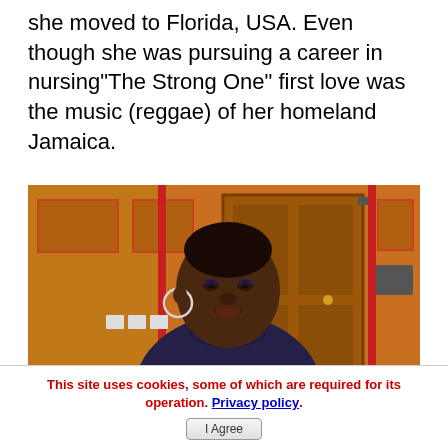she moved to Florida, USA. Even though she was pursuing a career in nursing"The Strong One" first love was the music (reggae) of her homeland Jamaica.
[Figure (photo): A woman with short natural hair wearing a dark blue/navy top, sitting in what appears to be a recording studio with orange/brown walls and a door visible in the background.]
This site uses cookies, some of which are required for its operation. Privacy policy. I Agree